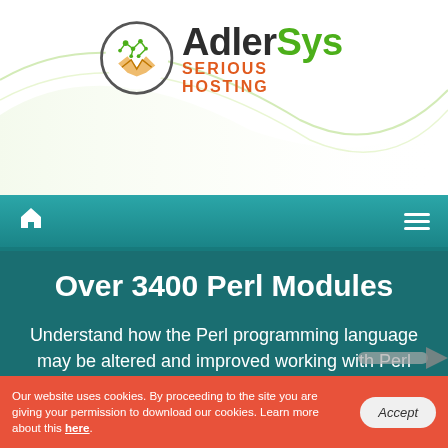[Figure (logo): AdlerSys logo with globe/network icon on left and 'AdlerSys SERIOUS HOSTING' text on right, on white background with decorative green swoosh lines]
Navigation bar with home icon and hamburger menu icon
Over 3400 Perl Modules
Understand how the Perl programming language may be altered and improved working with Perl modules.
Our website uses cookies. By proceeding to the site you are giving your permission to download our cookies. Learn more about this here.